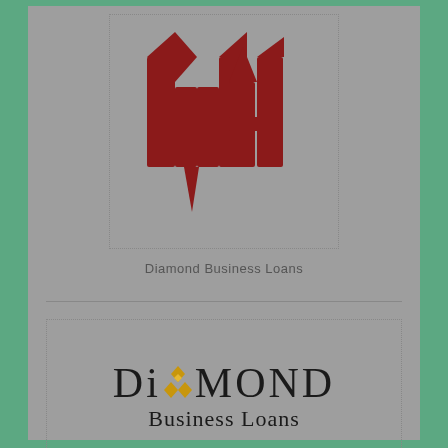[Figure (logo): Stylized dark red building/letter M and A logo mark in a dotted border box]
Diamond Business Loans
[Figure (logo): Diamond Business Loans logo with diamond gem graphic above the letter A in DIAMOND, text reads DIAMOND Business Loans in serif font, inside a dotted border box]